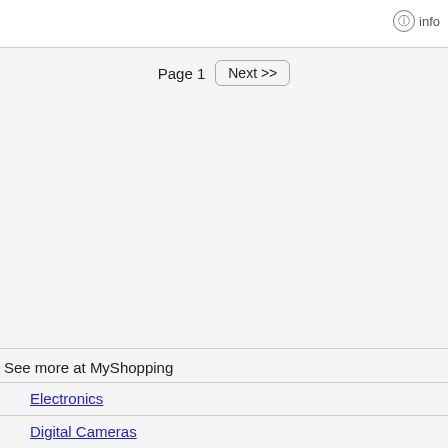info
Page 1  Next >>
See more at MyShopping
Electronics
Digital Cameras